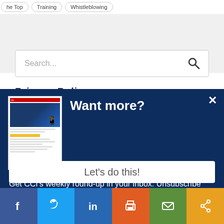he Top  Training  Whistleblowing
[Figure (screenshot): Search box with placeholder text 'Search...' and a search icon]
Privacy Poli...
[Figure (infographic): Dark blue modal popup with thumbnail image of newsletter, title 'Want more?', body text 'Get CCI’s weekly round-up in your inbox. Unsubscribe anytime.', a 'Let’s do this!' CTA button, and a close X button]
Get CCI's weekly round-up in your inbox. Unsubscribe anytime.
Facebook  Twitter  LinkedIn  Print  Email  Share